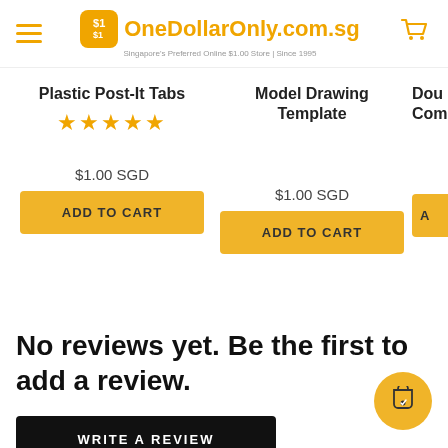OneDollarOnly.com.sg — Singapore's Preferred Online $1.00 Store | Since 1995
Plastic Post-It Tabs ★★★★★ $1.00 SGD ADD TO CART
Model Drawing Template $1.00 SGD ADD TO CART
Dou Comp A
No reviews yet. Be the first to add a review.
WRITE A REVIEW